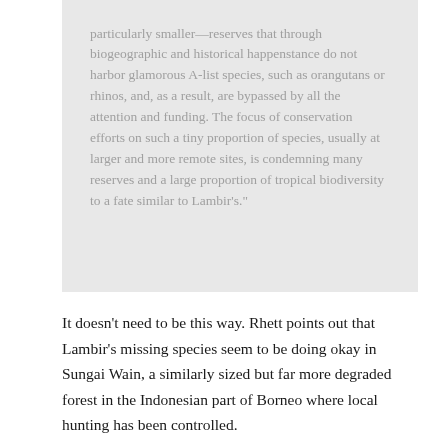particularly smaller—reserves that through biogeographic and historical happenstance do not harbor glamorous A-list species, such as orangutans or rhinos, and, as a result, are bypassed by all the attention and funding. The focus of conservation efforts on such a tiny proportion of species, usually at larger and more remote sites, is condemning many reserves and a large proportion of tropical biodiversity to a fate similar to Lambir's."
It doesn't need to be this way. Rhett points out that Lambir's missing species seem to be doing okay in Sungai Wain, a similarly sized but far more degraded forest in the Indonesian part of Borneo where local hunting has been controlled.